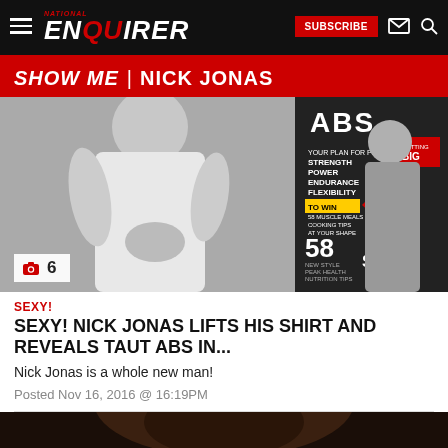NATIONAL ENQUIRER — SUBSCRIBE
SHOW ME | NICK JONAS
[Figure (photo): Black and white photo of Nick Jonas shirtless showing abs, alongside a magazine cover with 'ABS' headline, showing articles about strength, power, endurance, flexibility, huge arms, sex. Photo count badge showing camera icon and 6.]
SEXY!
SEXY! NICK JONAS LIFTS HIS SHIRT AND REVEALS TAUT ABS IN...
Nick Jonas is a whole new man!
Posted Nov 16, 2016 @ 16:19PM
[Figure (photo): Bottom strip showing partial photo of Nick Jonas, dark background.]